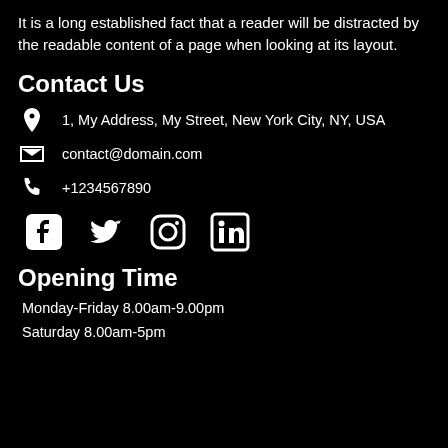It is a long established fact that a reader will be distracted by the readable content of a page when looking at its layout.
Contact Us
1, My Address, My Street, New York City, NY, USA
contact@domain.com
+1234567890
[Figure (infographic): Social media icons: Facebook, Twitter, Instagram, LinkedIn]
Opening Time
Monday-Friday 8.00am-9.00pm
Saturday 8.00am-5pm